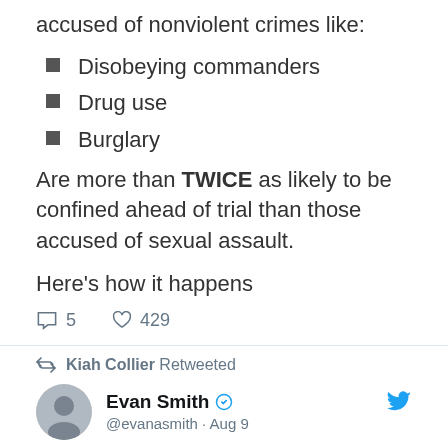accused of nonviolent crimes like:
Disobeying commanders
Drug use
Burglary
Are more than TWICE as likely to be confined ahead of trial than those accused of sexual assault.
Here's how it happens
5  429
Kiah Collier Retweeted
Evan Smith @evanasmith · Aug 9
Replying to @evanasmith @KatyTurNBC and 46 others
29. @kiahcollier talks water woes and severe drought with @twdb_brooke @maceatmeadows and Suzanne Scott